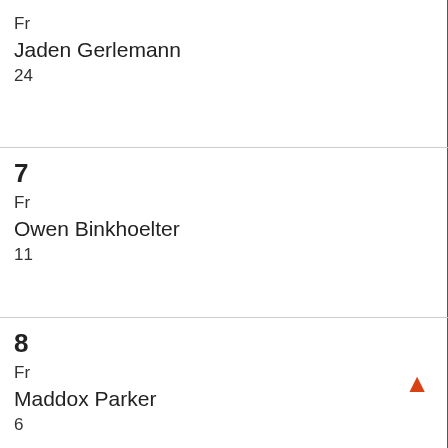Fr
Jaden Gerlemann
24
7
Fr
Owen Binkhoelter
11
8
Fr
Maddox Parker
6